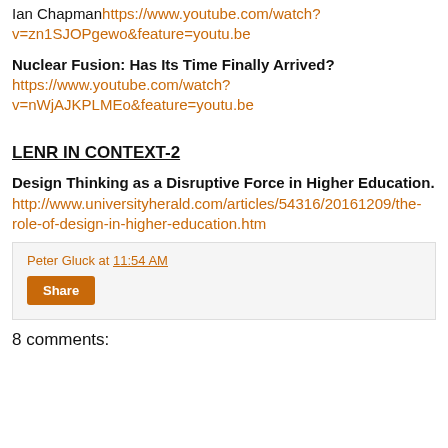Ian Chapman https://www.youtube.com/watch?v=zn1SJOPgewo&feature=youtu.be
Nuclear Fusion: Has Its Time Finally Arrived? https://www.youtube.com/watch?v=nWjAJKPLMEo&feature=youtu.be
LENR IN CONTEXT-2
Design Thinking as a Disruptive Force in Higher Education. http://www.universityherald.com/articles/54316/20161209/the-role-of-design-in-higher-education.htm
Peter Gluck at 11:54 AM
Share
8 comments: